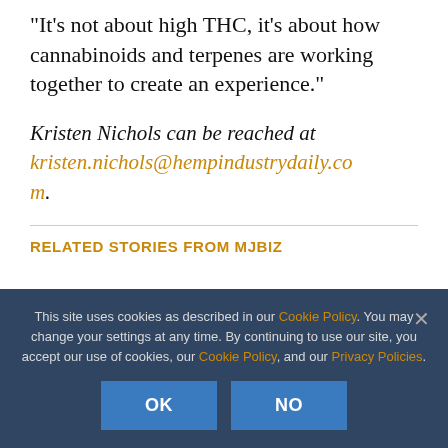“It’s not about high THC, it’s about how cannabinoids and terpenes are working together to create an experience.”
Kristen Nichols can be reached at kristen.nichols@hempindustrydaily.com.
RELATED STORIES FROM MJBIZ
This site uses cookies as described in our Cookie Policy. You may change your settings at any time. By continuing to use our site, you accept our use of cookies, our Cookie Policy, and our Privacy Policies.